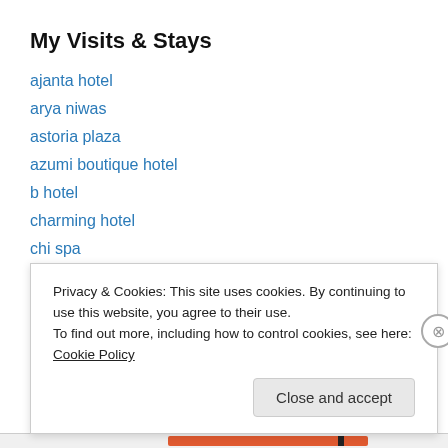My Visits & Stays
ajanta hotel
arya niwas
astoria plaza
azumi boutique hotel
b hotel
charming hotel
chi spa
cinnamon citadel
citrus hotel
crowne plaza manila
discovery suites
Privacy & Cookies: This site uses cookies. By continuing to use this website, you agree to their use.
To find out more, including how to control cookies, see here: Cookie Policy
Close and accept